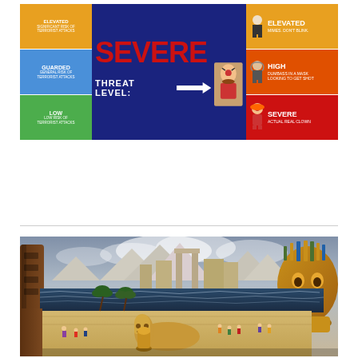[Figure (infographic): Parody homeland security threat level chart showing SEVERE threat level in center on dark blue background. Left column shows ELEVATED (orange), GUARDED (blue), LOW (green) levels. Right column shows ELEVATED with 'MIMES. DON'T BLINK.', HIGH with 'DUMBASS IN A MASK LOOKING TO GET SHOT', SEVERE with 'ACTUAL REAL CLOWN'. Center reads SEVERE in large red text with THREAT LEVEL: arrow pointing right to a clown image.]
[Figure (illustration): Fantasy/historical painting depicting an ancient coastal city (possibly Atlantis or ancient Egypt) with pyramids, giant statues including a large golden mask/idol face on right, sphinx-like creature in foreground, people in colorful garments walking along a promenade beside a body of water, mountains in background, dramatic cloudy sky.]